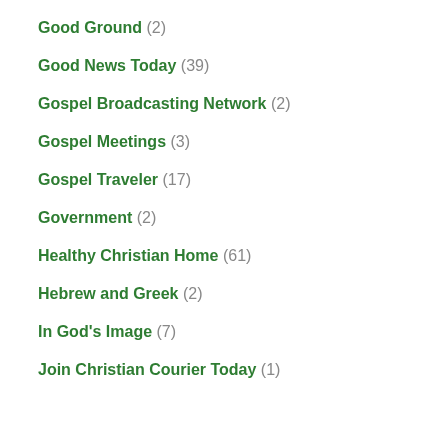Good Ground (2)
Good News Today (39)
Gospel Broadcasting Network (2)
Gospel Meetings (3)
Gospel Traveler (17)
Government (2)
Healthy Christian Home (61)
Hebrew and Greek (2)
In God's Image (7)
Join Christian Courier Today (1)